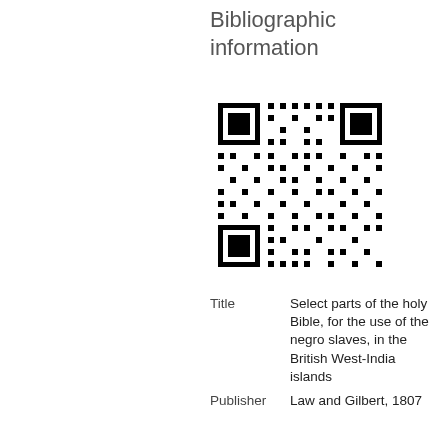Bibliographic information
[Figure (other): QR code linking to bibliographic record]
| Title | Select parts of the holy Bible, for the use of the negro slaves, in the British West-India islands |
| Publisher | Law and Gilbert, 1807 |